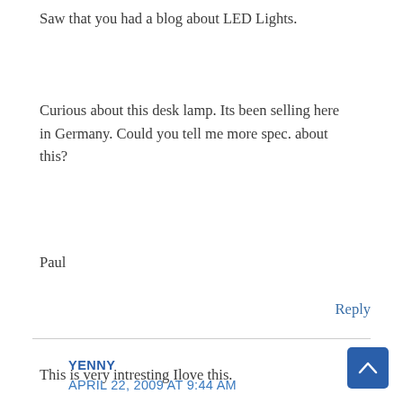Saw that you had a blog about LED Lights.
Curious about this desk lamp. Its been selling here in Germany. Could you tell me more spec. about this?
Paul
Reply
YENNY
APRIL 22, 2009 AT 9:44 AM
This is very intresting Ilove this.